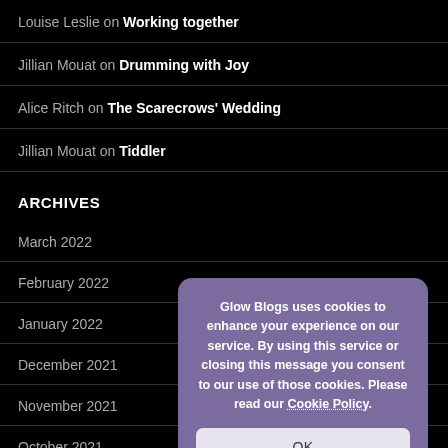Louise Leslie on Working together
Jillian Mouat on Drumming with Joy
Alice Ritch on The Scarecrows' Wedding
Jillian Mouat on Tiddler
ARCHIVES
March 2022
February 2022
January 2022
December 2021
November 2021
October 2021
Glow Blogs uses cookies to enhance your experience on our service. By using this service or closing this message you consent to our use of those cookies. Please read our Cookie Policy.